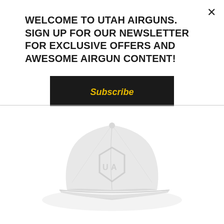WELCOME TO UTAH AIRGUNS. SIGN UP FOR OUR NEWSLETTER FOR EXCLUSIVE OFFERS AND AWESOME AIRGUN CONTENT!
Subscribe
[Figure (photo): A light gray/white Utah Airguns branded hat/cap with a UA logo on the front, shown on a white background below a horizontal dividing line]